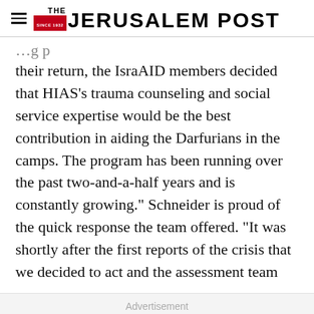THE JERUSALEM POST
their return, the IsraAID members decided that HIAS's trauma counseling and social service expertise would be the best contribution in aiding the Darfurians in the camps. The program has been running over the past two-and-a-half years and is constantly growing." Schneider is proud of the quick response the team offered. "It was shortly after the first reports of the crisis that we decided to act and the assessment team
Advertisement